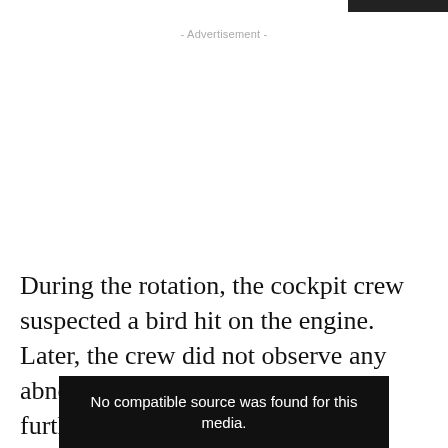- Advertisement -
During the rotation, the cockpit crew suspected a bird hit on the engine. Later, the crew did not observe any abnormality and the flight resumed further climb.
[Figure (screenshot): Video player with black background and white text reading: No compatible source was found for this media.]